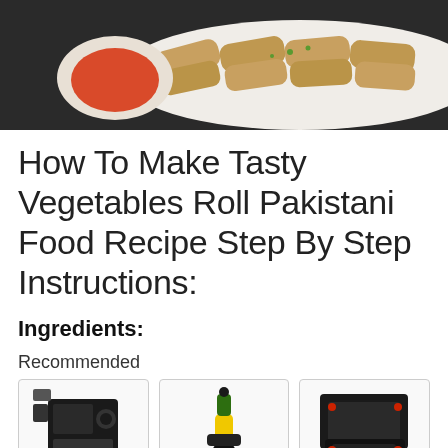[Figure (photo): Photo of vegetable spring rolls on a white plate with a bowl of red dipping sauce, viewed from above on a dark background.]
How To Make Tasty Vegetables Roll Pakistani Food Recipe Step By Step Instructions:
Ingredients:
Recommended
[Figure (photo): Three product images side by side: an air fryer oven, a green and yellow oil sprayer bottle, and a set of black non-stick baking pans with red silicone handles.]